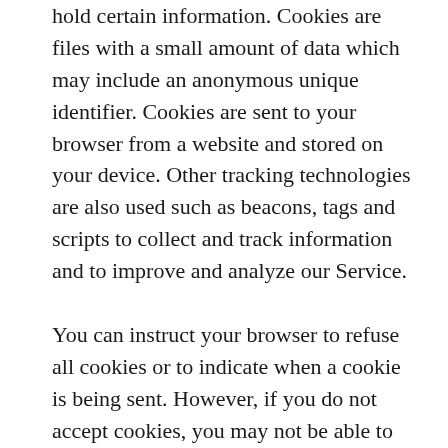hold certain information. Cookies are files with a small amount of data which may include an anonymous unique identifier. Cookies are sent to your browser from a website and stored on your device. Other tracking technologies are also used such as beacons, tags and scripts to collect and track information and to improve and analyze our Service. You can instruct your browser to refuse all cookies or to indicate when a cookie is being sent. However, if you do not accept cookies, you may not be able to use some portions of our Service. Examples of Cookies we use: